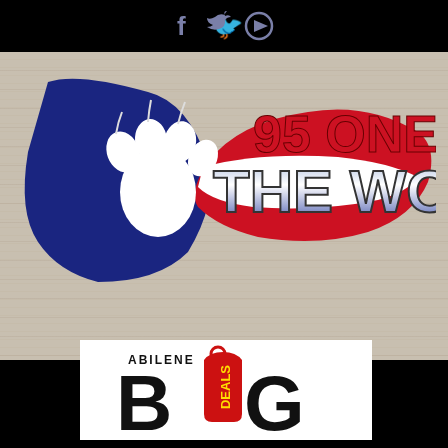[Figure (logo): Social media icons (Facebook, Twitter, Play button) in slate blue on black bar at top]
[Figure (logo): 95 One The Wolf radio station logo with wolf paw print on blue and red flag shape, text '95 ONE THE WOLF' in red and blue gradient metallic letters, on wood-grain background]
[Figure (logo): Abilene Big Deals logo: 'ABILENE' in small caps above large bold 'BiG' with a red price tag on the 'i', on white background]